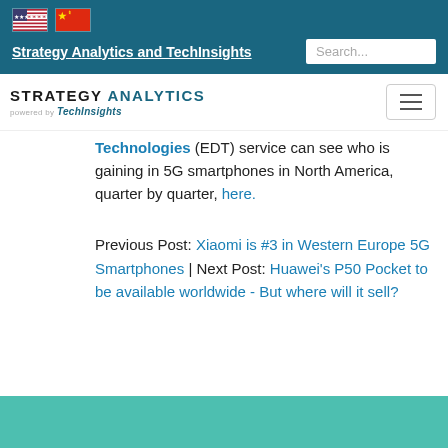Strategy Analytics and TechInsights
[Figure (logo): Strategy Analytics powered by TechInsights logo with hamburger menu]
Technologies (EDT) service can see who is gaining in 5G smartphones in North America, quarter by quarter, here.
Previous Post: Xiaomi is #3 in Western Europe 5G Smartphones | Next Post: Huawei's P50 Pocket to be available worldwide - But where will it sell?